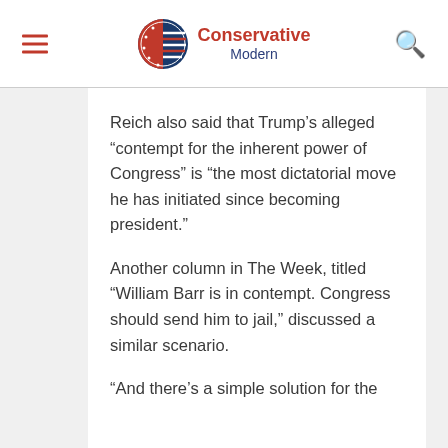Conservative Modern
Reich also said that Trump’s alleged “contempt for the inherent power of Congress” is “the most dictatorial move he has initiated since becoming president.”
Another column in The Week, titled “William Barr is in contempt. Congress should send him to jail,” discussed a similar scenario.
“And there’s a simple solution for the